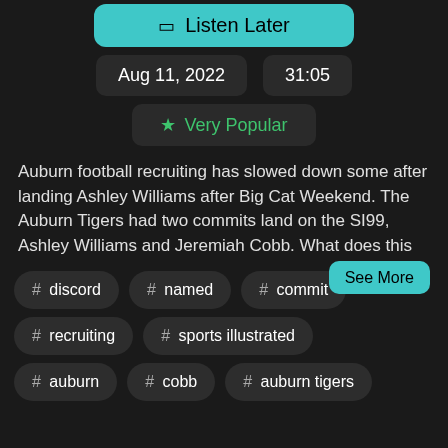[Figure (screenshot): Teal 'Listen Later' button with bookmark icon]
Aug 11, 2022   31:05
★ Very Popular
Auburn football recruiting has slowed down some after landing Ashley Williams after Big Cat Weekend. The Auburn Tigers had two commits land on the SI99, Ashley Williams and Jeremiah Cobb. What does this
See More
# discord
# named
# commit
# recruiting
# sports illustrated
# auburn
# cobb
# auburn tigers